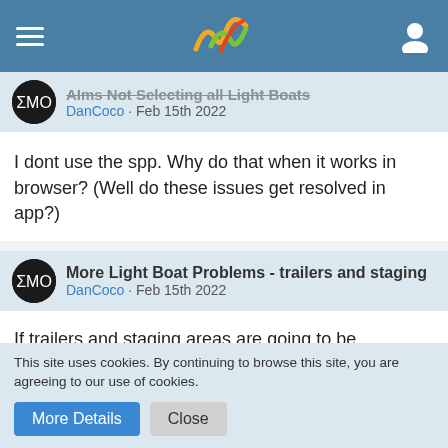Navigation header with logo and user icon
AIms Not Selecting all Light Boats — DanCoco · Feb 15th 2022
I dont use the spp. Why do that when it works in browser? (Well do these issues get resolved in app?)
More Light Boat Problems - trailers and staging — DanCoco · Feb 15th 2022
If trailers and staging areas are going to be problematic, can we please get the heavy rescue w/ light boat option at fire and rescue docks?
I have a few water rescue boat trailers only because the fire and
This site uses cookies. By continuing to browse this site, you are agreeing to our use of cookies.